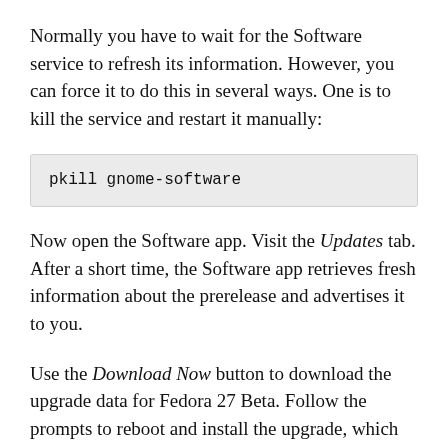Normally you have to wait for the Software service to refresh its information. However, you can force it to do this in several ways. One is to kill the service and restart it manually:
Now open the Software app. Visit the Updates tab. After a short time, the Software app retrieves fresh information about the prerelease and advertises it to you.
Use the Download Now button to download the upgrade data for Fedora 27 Beta. Follow the prompts to reboot and install the upgrade, which will take some